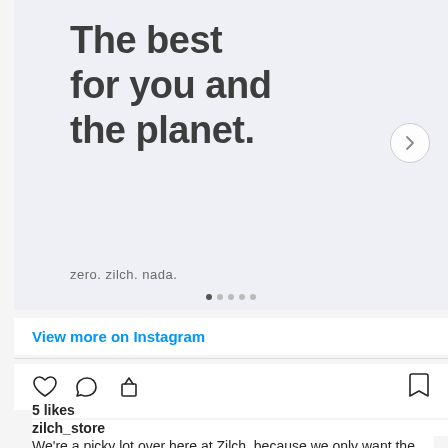[Figure (screenshot): Instagram post image with light gray/blue background showing large bold text 'The best for you and the planet.' and smaller text 'zero. zilch. nada.' at bottom left. A right-arrow navigation button appears on the right side.]
View more on Instagram
[Figure (other): Instagram action icons: heart (like), speech bubble (comment), share arrow on left; bookmark on right]
5 likes
zilch_store
We're a picky lot over here at Zilch, because we only want the best for you and the planet. All the brands in